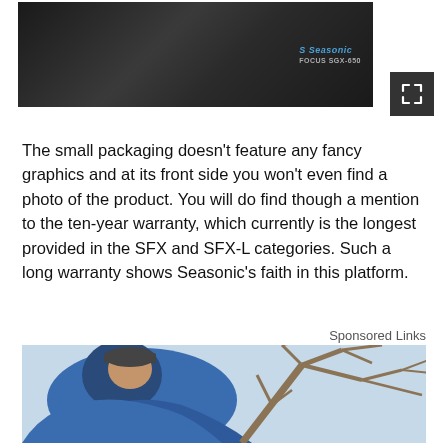[Figure (photo): Product photo of a Seasonic device (dark colored hardware component) on white background with expand icon button in top-right corner]
The small packaging doesn't feature any fancy graphics and at its front side you won't even find a photo of the product. You will do find though a mention to the ten-year warranty, which currently is the longest provided in the SFX and SFX-L categories. Such a long warranty shows Seasonic's faith in this platform.
Sponsored Links
[Figure (photo): A person in a blue jacket and cap leaning over bare tree branches, photographed from above against a light sky background]